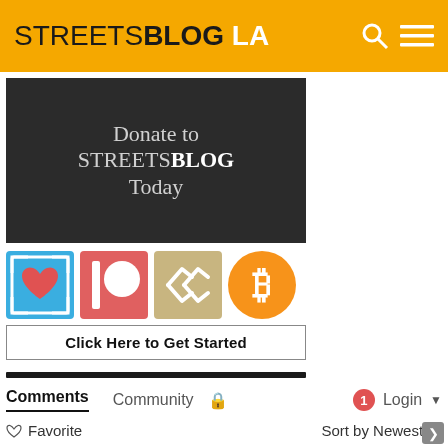STREETSBLOG LA
[Figure (screenshot): Donate to STREETSBLOG Today banner with dark background]
[Figure (screenshot): Four donation method icons: GiveDirectly/heart, Patreon, Steem, Bitcoin]
Click Here to Get Started
Comments  Community  Login
Favorite  Sort by Newest
Start the discussion...
LOG IN WITH